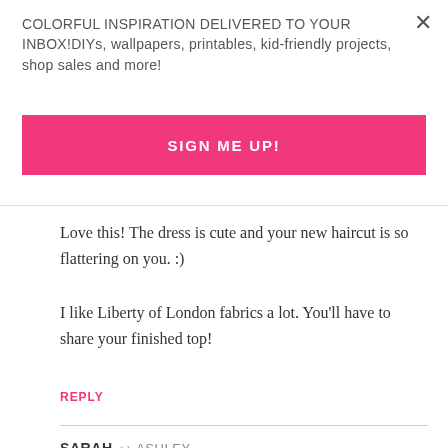COLORFUL INSPIRATION DELIVERED TO YOUR INBOX!DIYs, wallpapers, printables, kid-friendly projects, shop sales and more!
SIGN ME UP!
Love this! The dress is cute and your new haircut is so flattering on you. :)
I like Liberty of London fabrics a lot. You'll have to share your finished top!
REPLY
SARAH → ASHLEY
March 13, 2014